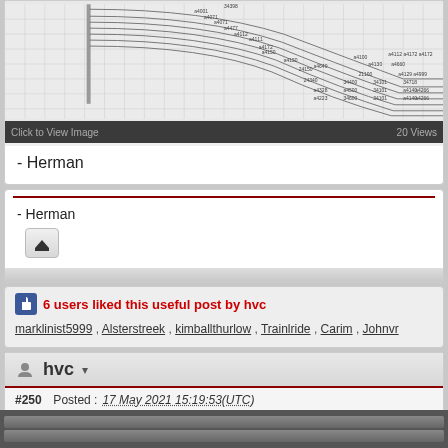[Figure (engineering-diagram): Technical engineering drawing showing curved track or rail layout with numbered labels along curved paths, on a grid background. Text at bottom: 'Click to View Image' and '20 Views']
- Herman
- Herman
6 users liked this useful post by hvc
marklinist5999 , Alsterstreek , kimballthurlow , Trainlride , Carim , Johnvr
hvc
#250  Posted :  17 May 2021 15:19:53(UTC)